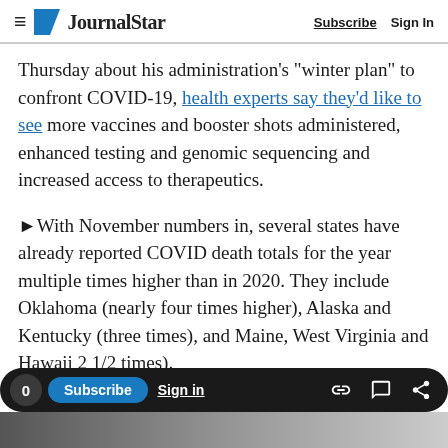≡ JournalStar  Subscribe  Sign In
Thursday about his administration's "winter plan" to confront COVID-19, health experts say they'd like to see more vaccines and booster shots administered, enhanced testing and genomic sequencing and increased access to therapeutics.
►With November numbers in, several states have already reported COVID death totals for the year multiple times higher than in 2020. They include Oklahoma (nearly four times higher), Alaska and Kentucky (three times), and Maine, West Virginia and Hawaii 2 1/2 times).
Advertisement